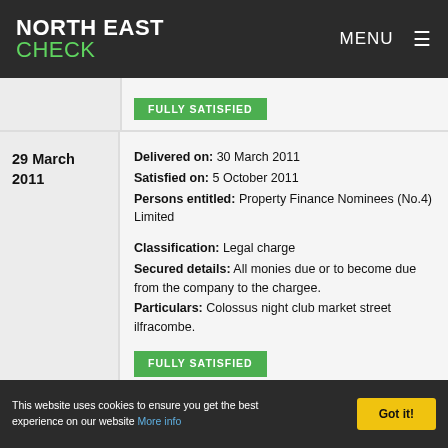NORTH EAST CHECK | MENU
FULLY SATISFIED
| Date | Details |
| --- | --- |
| 29 March 2011 | Delivered on: 30 March 2011
Satisfied on: 5 October 2011
Persons entitled: Property Finance Nominees (No.4) Limited

Classification: Legal charge
Secured details: All monies due or to become due from the company to the chargee.
Particulars: Colossus night club market street ilfracombe.

FULLY SATISFIED |
This website uses cookies to ensure you get the best experience on our website More info | Got it!